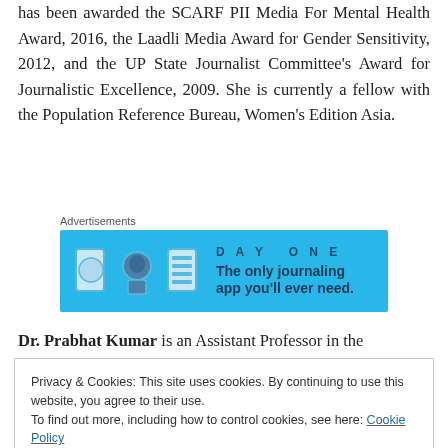has been awarded the SCARF PII Media For Mental Health Award, 2016, the Laadli Media Award for Gender Sensitivity, 2012, and the UP State Journalist Committee's Award for Journalistic Excellence, 2009. She is currently a fellow with the Population Reference Bureau, Women's Edition Asia.
[Figure (other): Advertisement banner for Day One journaling app. Blue background with icons and text: 'The only journaling app you'll ever need.']
Dr. Prabhat Kumar is an Assistant Professor in the
Privacy & Cookies: This site uses cookies. By continuing to use this website, you agree to their use.
To find out more, including how to control cookies, see here: Cookie Policy
Close and accept
doctorate from Heidelberg University. He is a regular